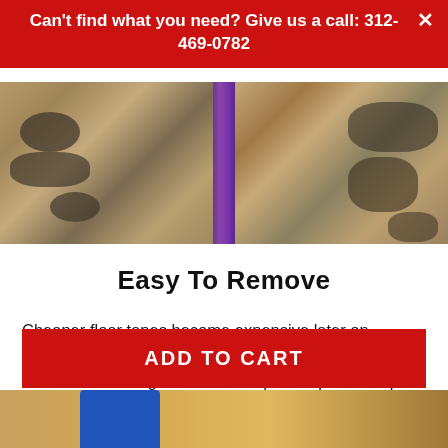Can't find what you need? Give us a call: 312-469-0782
[Figure (photo): Close-up photo of worn concrete floor with dark stains/markings split by a vertical purple floor tape stripe down the center]
Easy To Remove
Cheaper floor tapes become expensive later on. Mighty Line floor tapes leave no residue. To remove, use a thin tool to get under the tape and pull the tape up in one piece. Mighty Line
[Figure (photo): Partial bottom strip showing a wooden floor with blue floor tape]